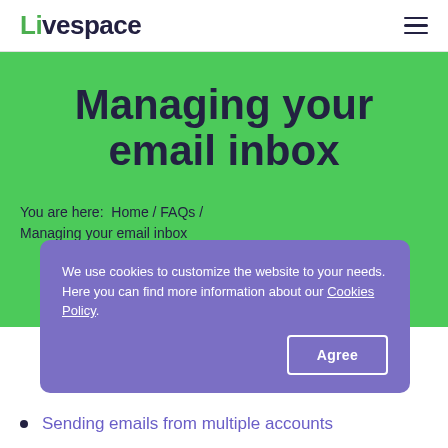Livespace
Managing your email inbox
You are here: Home / FAQs / Managing your email inbox
We use cookies to customize the website to your needs. Here you can find more information about our Cookies Policy.
Sending emails from multiple accounts